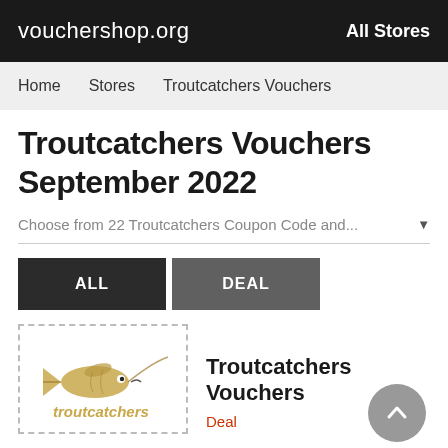vouchershop.org   All Stores
Home   Stores   Troutcatchers Vouchers
Troutcatchers Vouchers September 2022
Choose from 22 Troutcatchers Coupon Code and...
ALL   DEAL
[Figure (logo): Troutcatchers brand logo: a fish illustration with the text 'troutcatchers' beneath it]
Troutcatchers Vouchers
Deal